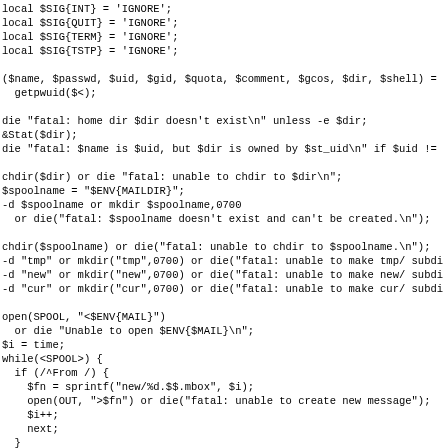local $SIG{INT} = 'IGNORE';
local $SIG{QUIT} = 'IGNORE';
local $SIG{TERM} = 'IGNORE';
local $SIG{TSTP} = 'IGNORE';

($name, $passwd, $uid, $gid, $quota, $comment, $gcos, $dir, $shell) =
  getpwuid($<);

die "fatal: home dir $dir doesn't exist\n" unless -e $dir;
&Stat($dir);
die "fatal: $name is $uid, but $dir is owned by $st_uid\n" if $uid !=

chdir($dir) or die "fatal: unable to chdir to $dir\n";
$spoolname = "$ENV{MAILDIR}";
-d $spoolname or mkdir $spoolname,0700
  or die("fatal: $spoolname doesn't exist and can't be created.\n");

chdir($spoolname) or die("fatal: unable to chdir to $spoolname.\n");
-d "tmp" or mkdir("tmp",0700) or die("fatal: unable to make tmp/ subdi
-d "new" or mkdir("new",0700) or die("fatal: unable to make new/ subdi
-d "cur" or mkdir("cur",0700) or die("fatal: unable to make cur/ subdi

open(SPOOL, "<$ENV{MAIL}")
  or die "Unable to open $ENV{$MAIL}\n";
$i = time;
while(<SPOOL>) {
  if (/^From /) {
    $fn = sprintf("new/%d.$$.mbox", $i);
    open(OUT, ">$fn") or die("fatal: unable to create new message");
    $i++;
    next;
  }
  s/^>From /From /;
  print OUT or die("fatal: unable to write to new message");
}
close(SPOOL);
close(OUT);
unlink("$ENV{MAIL}");